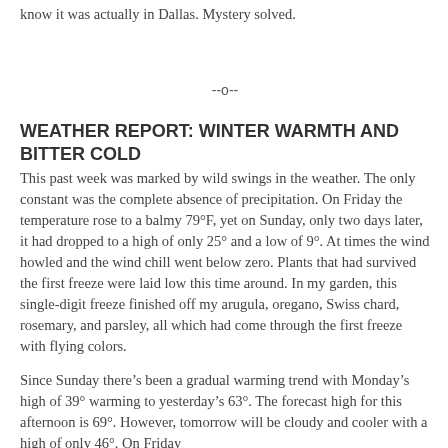know it was actually in Dallas. Mystery solved.
--o--
WEATHER REPORT: WINTER WARMTH AND BITTER COLD
This past week was marked by wild swings in the weather. The only constant was the complete absence of precipitation. On Friday the temperature rose to a balmy 79°F, yet on Sunday, only two days later, it had dropped to a high of only 25° and a low of 9°. At times the wind howled and the wind chill went below zero. Plants that had survived the first freeze were laid low this time around. In my garden, this single-digit freeze finished off my arugula, oregano, Swiss chard, rosemary, and parsley, all which had come through the first freeze with flying colors.
Since Sunday there's been a gradual warming trend with Monday's high of 39° warming to yesterday's 63°. The forecast high for this afternoon is 69°. However, tomorrow will be cloudy and cooler with a high of only 46°. On Friday